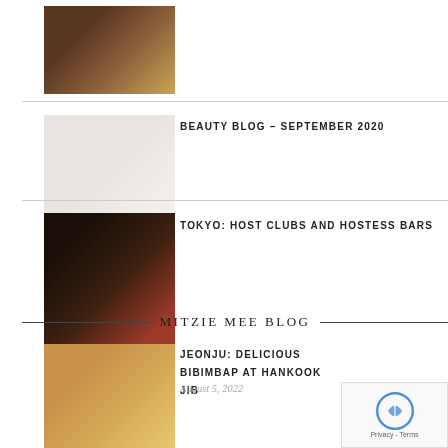[Figure (photo): Food dish photo - Korean fried rice with egg on dark plate]
[Figure (photo): Beauty products photo - skincare items, bottles, jars and dried flowers]
BEAUTY BLOG – SEPTEMBER 2020
[Figure (photo): Tokyo night scene - host clubs and hostess bars street view]
TOKYO: HOST CLUBS AND HOSTESS BARS
MITZIE MEE BLOG
[Figure (photo): Jeonju bibimbap - Korean rice dish with colorful toppings in stone bowl]
JEONJU: DELICIOUS BIBIMBAP AT HANKOOK JIB
August 5, 2022